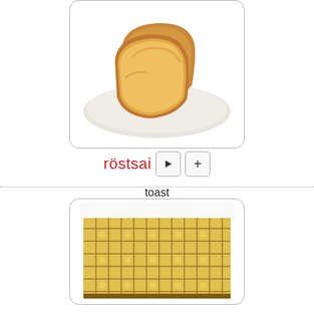[Figure (photo): Two slices of toasted bread on a white plate, golden brown color]
röstsai
toast
[Figure (photo): A square waffle with golden-brown diamond grid pattern, close-up view]